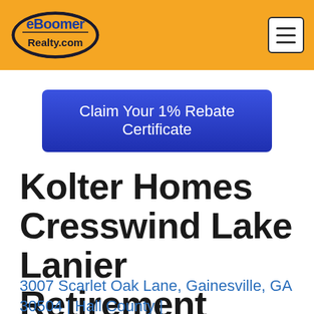eBoomer Realty.com
Claim Your 1% Rebate Certificate
Kolter Homes Cresswind Lake Lanier Retirement Community New Homes
3007 Scarlet Oak Lane, Gainesville, GA 30504 | Hall County |